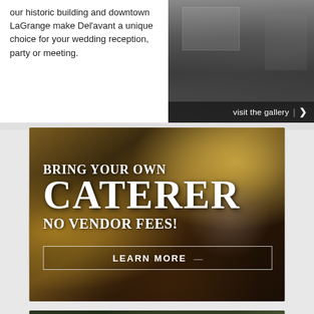our historic building and downtown LaGrange make Del'avant a unique choice for your wedding reception, party or meeting.
[Figure (photo): Grayscale photo of a building exterior with 'visit the gallery | >' overlay at bottom right]
[Figure (photo): Food photo banner with text overlays: 'BRING YOUR OWN CATERER NO VENDOR FEES!' and 'LEARN MORE' button]
[Figure (photo): Wedding couple photo banner with text 'Need a wedding coordinator?' and 'click here!' overlay]